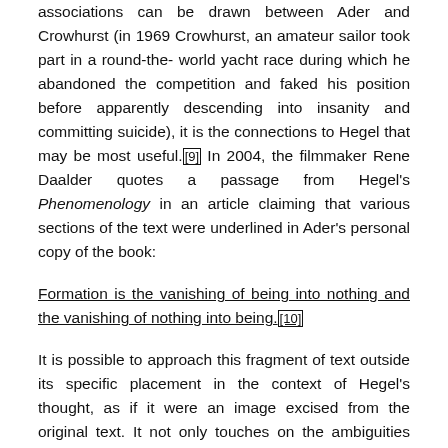associations can be drawn between Ader and Crowhurst (in 1969 Crowhurst, an amateur sailor took part in a round-the- world yacht race during which he abandoned the competition and faked his position before apparently descending into insanity and committing suicide), it is the connections to Hegel that may be most useful.[9] In 2004, the filmmaker Rene Daalder quotes a passage from Hegel's Phenomenology in an article claiming that various sections of the text were underlined in Ader's personal copy of the book:
Formation is the vanishing of being into nothing and the vanishing of nothing into being.[10]
It is possible to approach this fragment of text outside its specific placement in the context of Hegel's thought, as if it were an image excised from the original text. It not only touches on the ambiguities accompanying the act of vanishing but also inherent in creativity ('formation') and